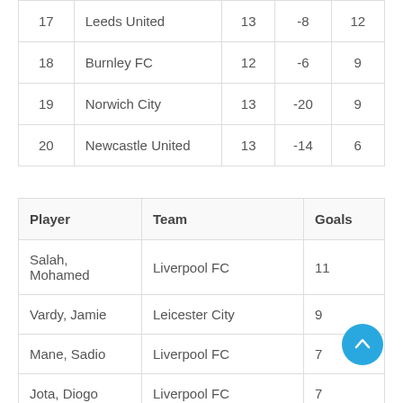| 17 | Leeds United | 13 | -8 | 12 |
| 18 | Burnley FC | 12 | -6 | 9 |
| 19 | Norwich City | 13 | -20 | 9 |
| 20 | Newcastle United | 13 | -14 | 6 |
| Player | Team | Goals |
| --- | --- | --- |
| Salah, Mohamed | Liverpool FC | 11 |
| Vardy, Jamie | Leicester City | 9 |
| Mane, Sadio | Liverpool FC | 7 |
| Jota, Diogo | Liverpool FC | 7 |
| Antonio, Michail | West Ham United | 6 |